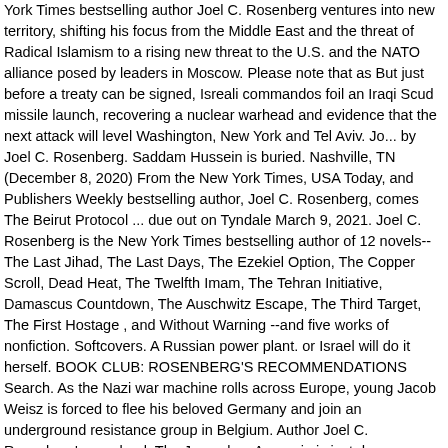York Times bestselling author Joel C. Rosenberg ventures into new territory, shifting his focus from the Middle East and the threat of Radical Islamism to a rising new threat to the U.S. and the NATO alliance posed by leaders in Moscow. Please note that as But just before a treaty can be signed, Isreali commandos foil an Iraqi Scud missile launch, recovering a nuclear warhead and evidence that the next attack will level Washington, New York and Tel Aviv. Jo... by Joel C. Rosenberg. Saddam Hussein is buried. Nashville, TN (December 8, 2020) From the New York Times, USA Today, and Publishers Weekly bestselling author, Joel C. Rosenberg, comes The Beirut Protocol ... due out on Tyndale March 9, 2021. Joel C. Rosenberg is the New York Times bestselling author of 12 novels-- The Last Jihad, The Last Days, The Ezekiel Option, The Copper Scroll, Dead Heat, The Twelfth Imam, The Tehran Initiative, Damascus Countdown, The Auschwitz Escape, The Third Target, The First Hostage , and Without Warning --and five works of nonfiction. Softcovers. A Russian power plant. or Israel will do it herself. BOOK CLUB: ROSENBERG'S RECOMMENDATIONS Search. As the Nazi war machine rolls across Europe, young Jacob Weisz is forced to flee his beloved Germany and join an underground resistance group in Belgium. Author Joel C. Rosenberg's new book The Jerusalem Assassin is just days away from hitting the shelves. It's my own form of escapism.That's why when I read that Joel C. Rosenberg's latest book was "Clancyesque" it was a good omen in my eyes. The next book by Joel C Rosenberg is The Beirut Protocol and will be released on March 9th 2021. Connect interrupted. The last...